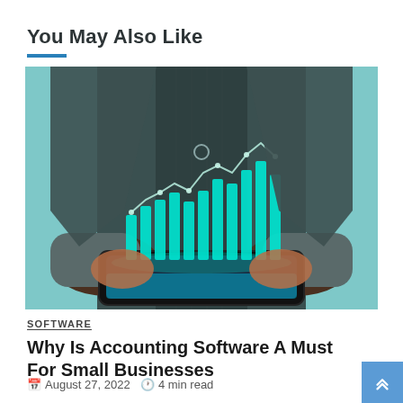You May Also Like
[Figure (photo): Person in suit holding a tablet displaying a holographic teal/cyan bar chart with an upward trend line, against a teal background]
SOFTWARE
Why Is Accounting Software A Must For Small Businesses
August 27, 2022   4 min read